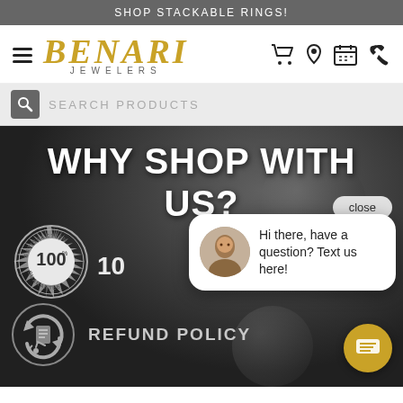SHOP STACKABLE RINGS!
[Figure (logo): Benari Jewelers logo with hamburger menu and navigation icons (cart, location, calendar, phone)]
SEARCH PRODUCTS
WHY SHOP WITH US?
[Figure (other): 100% Satisfaction Guarantee badge circular stamp]
Hi there, have a question? Text us here!
close
REFUND POLICY
[Figure (other): Refund/return policy icon with circular arrows and wheelchair symbol]